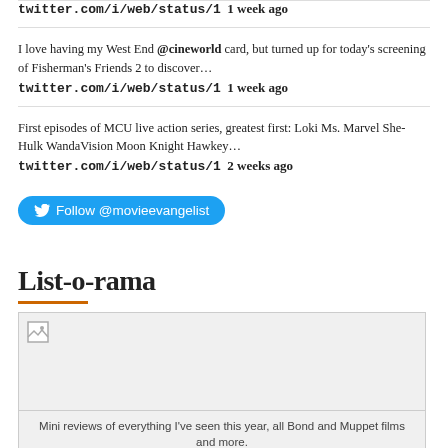twitter.com/i/web/status/1  1 week ago
I love having my West End @cineworld card, but turned up for today's screening of Fisherman's Friends 2 to discover… twitter.com/i/web/status/1  1 week ago
First episodes of MCU live action series, greatest first: Loki Ms. Marvel She-Hulk WandaVision Moon Knight Hawkey… twitter.com/i/web/status/1  2 weeks ago
Follow @movieevangelist
List-o-rama
[Figure (photo): Image placeholder (broken image icon) with grey background]
Mini reviews of everything I've seen this year, all Bond and Muppet films and more.